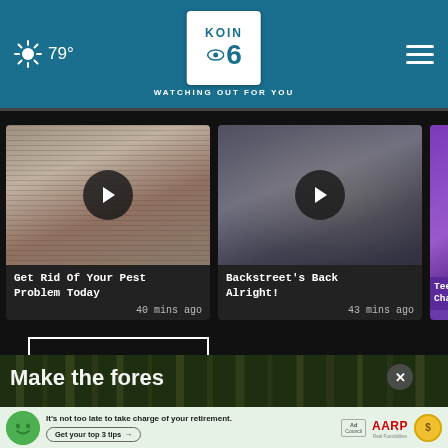KOIN 6 CBS — WATCHING OUT FOR YOU — 79°
[Figure (screenshot): Video thumbnail 1: Get Rid Of Your Pest Problem Today, 40 mins ago]
[Figure (screenshot): Video thumbnail 2: Backstreet's Back Alright!, 43 mins ago]
[Figure (screenshot): Video thumbnail 3 (partial): Teen M... Chapt...]
More Videos ›
[Figure (photo): Forest background image with text 'Make the fores... Story']
[Figure (infographic): AARP advertisement: It's not too late to take charge of your retirement. Get your top 3 tips →]